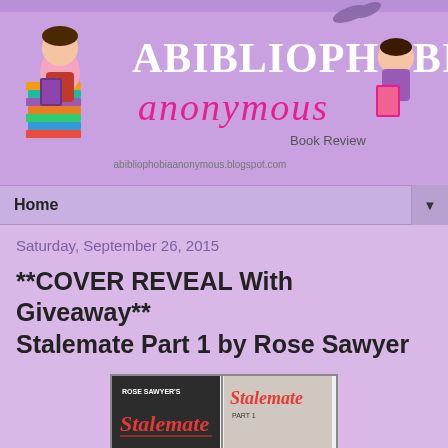[Figure (illustration): Abibliophobia Anonymous Book Review blog header banner with illustrated women holding books, pink and purple script logo text, and website URL abibliophobiaanonymous.blogspot.com]
Home
Saturday, September 26, 2015
**COVER REVEAL With Giveaway** Stalemate Part 1 by Rose Sawyer
[Figure (illustration): Book cover for 'Stalemate Part 1' by Rose Sawyer showing two versions of the cover side by side with red script and bold typography]